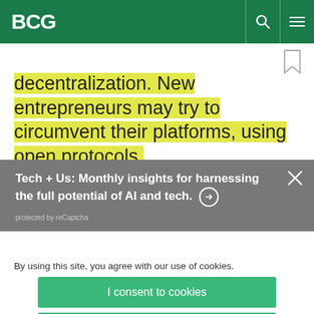BCG
decentralization. New entrepreneurs may try to circumvent their platforms, using open protocols,
Tech + Us: Monthly insights for harnessing the full potential of AI and tech. → protected by reCaptcha
By using this site, you agree with our use of cookies.
I consent to cookies
Want to know more?
Read our Cookie Policy